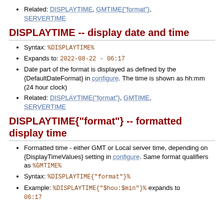Related: DISPLAYTIME, GMTIME{"format"}, SERVERTIME
DISPLAYTIME -- display date and time
Syntax: %DISPLAYTIME%
Expands to: 2022-08-22 - 06:17
Date part of the format is displayed as defined by the {DefaultDateFormat} in configure. The time is shown as hh:mm (24 hour clock)
Related: DISPLAYTIME{"format"}, GMTIME, SERVERTIME
DISPLAYTIME{"format"} -- formatted display time
Formatted time - either GMT or Local server time, depending on {DisplayTimeValues} setting in configure. Same format qualifiers as %GMTIME%
Syntax: %DISPLAYTIME{"format"}%
Example: %DISPLAYTIME{"$hou:$min"}% expands to 06:17